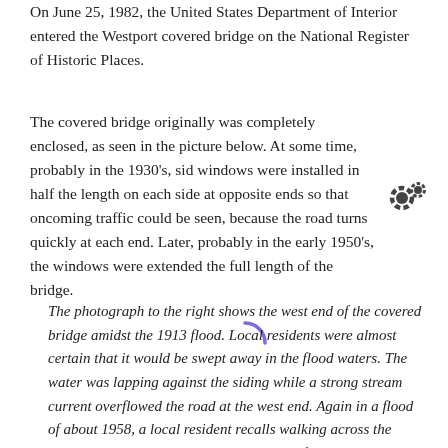On June 25, 1982, the United States Department of Interior entered the Westport covered bridge on the National Register of Historic Places.
The covered bridge originally was completely enclosed, as seen in the picture below. At some time, probably in the 1930's, sid windows were installed in half the length on each side at opposite ends so that oncoming traffic could be seen, because the road turns quickly at each end. Later, probably in the early 1950's, the windows were extended the full length of the bridge.
[Figure (other): Loading spinner (purple arc) and settings/gear icon (dark gray double gear) visible on screen, indicating a loading state for an image that has not yet loaded.]
The photograph to the right shows the west end of the covered bridge amidst the 1913 flood. Local residents were almost certain that it would be swept away in the flood waters. The water was lapping against the siding while a strong stream current overflowed the road at the west end. Again in a flood of about 1958, a local resident recalls walking across the bridge in knee high water while helping a family evacuate from their home. But, each time it's been threatened by high flood